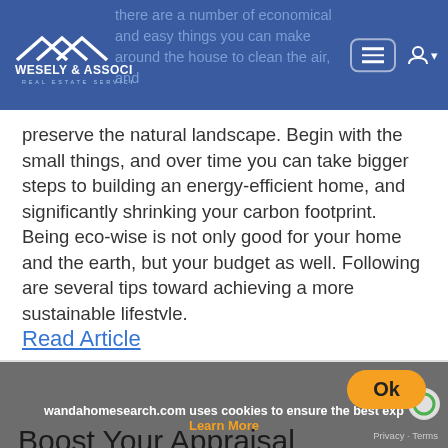Wesely & Associates Real Estate Services
there are a number of economical and easy things you can make around the house to clean the air, and preserve the natural landscape. Begin with the small things, and over time you can take bigger steps to building an energy-efficient home, and significantly shrinking your carbon footprint. Being eco-wise is not only good for your home and the earth, but your budget as well. Following are several tips toward achieving a more sustainable lifestyle.
Read Article
wandahomesearch.com uses cookies to ensure the best exp
Ok
Learn More
Privacy · Terms
Boost Your Appraisal